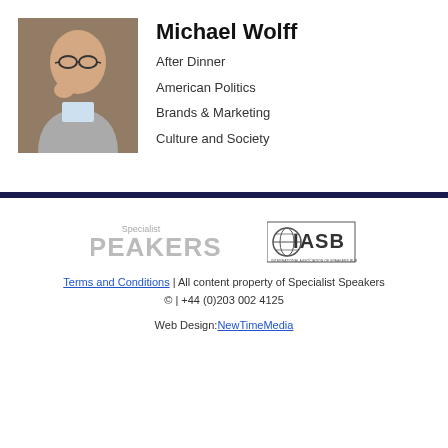[Figure (photo): Headshot photo of Michael Wolff, a bald man with glasses wearing a grey jacket, leaning on his hand against a bookshelf background.]
Michael Wolff
After Dinner
American Politics
Brands & Marketing
Culture and Society
[Figure (logo): Specialist Speakers logo and IASB logo side by side]
Terms and Conditions | All content property of Specialist Speakers © | +44 (0)203 002 4125
Web Design: NewTimeMedia